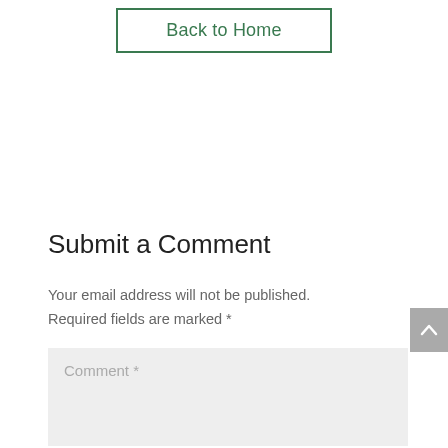Back to Home
Submit a Comment
Your email address will not be published. Required fields are marked *
Comment *